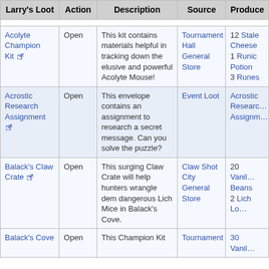| Larry's Loot | Action | Description | Source | Produces |
| --- | --- | --- | --- | --- |
| Acolyte Champion Kit [ext] | Open | This kit contains materials helpful in tracking down the elusive and powerful Acolyte Mouse! | Tournament Hall General Store | 12 Stale Cheese
1 Runic Potion
3 Runes |
| Acrostic Research Assignment [ext] | Open | This envelope contains an assignment to research a secret message. Can you solve the puzzle? | Event Loot | Acrostic Research Assignment |
| Balack's Claw Crate [ext] | Open | This surging Claw Crate will help hunters wrangle dem dangerous Lich Mice in Balack's Cove. | Claw Shot City General Store | 20 Vanilla Beans
2 Lich Lo... |
| Balack's Cove | Open | This Champion Kit | Tournament | 30 Vanil... |